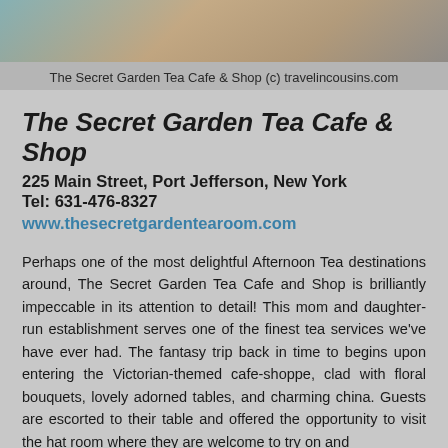[Figure (photo): Top portion of a photo showing a tea setting, partially cropped]
The Secret Garden Tea Cafe & Shop (c) travelincousins.com
The Secret Garden Tea Cafe & Shop
225 Main Street, Port Jefferson, New York
Tel: 631-476-8327
www.thesecretgardentearoom.com
Perhaps one of the most delightful Afternoon Tea destinations around, The Secret Garden Tea Cafe and Shop is brilliantly impeccable in its attention to detail! This mom and daughter-run establishment serves one of the finest tea services we've have ever had. The fantasy trip back in time to begins upon entering the Victorian-themed cafe-shoppe, clad with floral bouquets, lovely adorned tables, and charming china. Guests are escorted to their table and offered the opportunity to visit the hat room where they are welcome to try on and